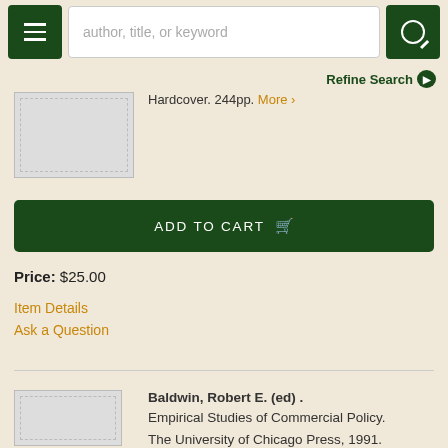author, title, or keyword [search bar] | Refine Search
Hardcover. 244pp. More ›
ADD TO CART
Price: $25.00
Item Details
Ask a Question
Baldwin, Robert E. (ed) . Empirical Studies of Commercial Policy. The University of Chicago Press, 1991.